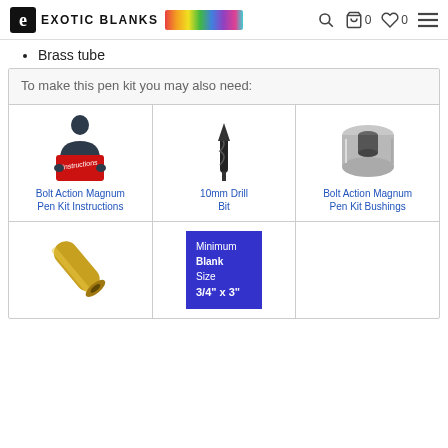Exotic Blanks
Brass tube
To make this pen kit you may also need:
[Figure (illustration): Person reading a red book labeled Instructions - icon for Bolt Action Magnum Pen Kit Instructions]
Bolt Action Magnum Pen Kit Instructions
[Figure (illustration): 10mm drill bit icon]
10mm Drill Bit
[Figure (photo): Bolt Action Magnum Pen Kit Bushings - silver metal bushing piece]
Bolt Action Magnum Pen Kit Bushings
[Figure (photo): Brass tube - gold colored cylindrical tube at an angle]
[Figure (infographic): Minimum Blank Size label: 3/4 x 3 inches, blue background white text]